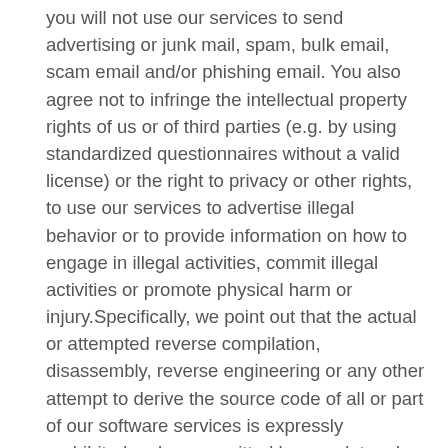you will not use our services to send advertising or junk mail, spam, bulk email, scam email and/or phishing email. You also agree not to infringe the intellectual property rights of us or of third parties (e.g. by using standardized questionnaires without a valid license) or the right to privacy or other rights, to use our services to advertise illegal behavior or to provide information on how to engage in illegal activities, commit illegal activities or promote physical harm or injury.Specifically, we point out that the actual or attempted reverse compilation, disassembly, reverse engineering or any other attempt to derive the source code of all or part of our software services is expressly prohibited, unless permitted by mandatory law.
In the event that one or more of the provisions of these Terms of Use is breached by you, we may (but are not obligated to), at our sole discretion, review, edit, restrict